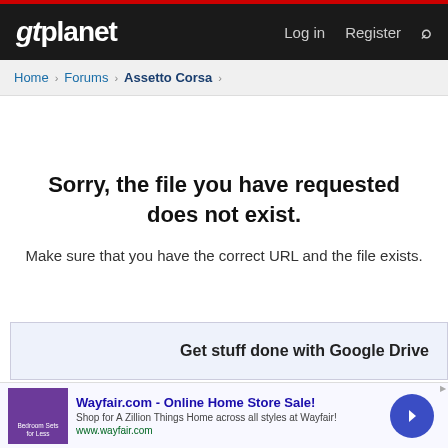gtplanet  Log in  Register
Home > Forums > Assetto Corsa >
Sorry, the file you have requested does not exist.
Make sure that you have the correct URL and the file exists.
Get stuff done with Google Drive
Wayfair.com - Online Home Store Sale! Shop for A Zillion Things Home across all styles at Wayfair! www.wayfair.com